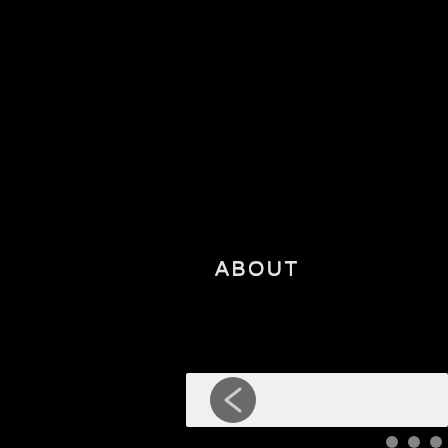[Figure (screenshot): Website navigation screenshot with black background showing nav items ABOUT, PERFORMANCES, VIDE(OS) partially visible, a white horizontal slider/carousel bar with a left-arrow back button, and three pagination dots at the bottom right.]